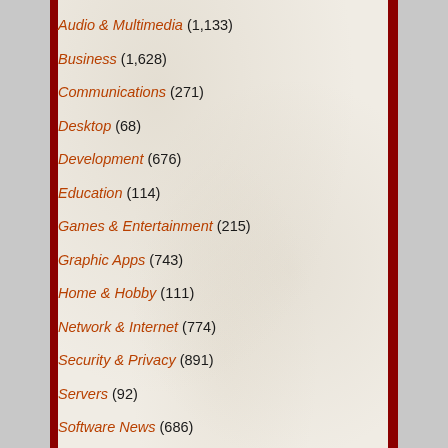Audio & Multimedia (1,133)
Business (1,628)
Communications (271)
Desktop (68)
Development (676)
Education (114)
Games & Entertainment (215)
Graphic Apps (743)
Home & Hobby (111)
Network & Internet (774)
Security & Privacy (891)
Servers (92)
Software News (686)
System Utilities (2,193)
Web Development (271)